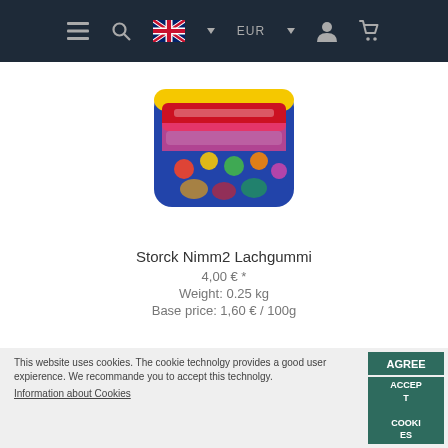Navigation bar with menu, search, language (EN/UK flag), EUR currency, user account, and cart icons
[Figure (photo): Storck Nimm2 Lachgummi candy bag product image on white background]
Storck Nimm2 Lachgummi
4,00 € *
Weight: 0.25 kg
Base price: 1,60 € / 100g
This website uses cookies. The cookie technolgy provides a good user expierence. We recommande you to accept this technolgy.
Information about Cookies
AGREE
ACCEPT COOKIES